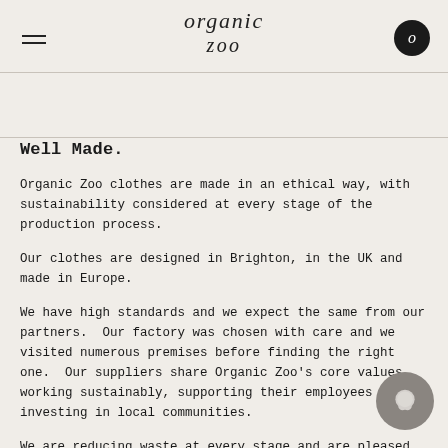organic zoo
Well Made.
Organic Zoo clothes are made in an ethical way, with sustainability considered at every stage of the production process.
Our clothes are designed in Brighton, in the UK and made in Europe.
We have high standards and we expect the same from our partners.  Our factory was chosen with care and we visited numerous premises before finding the right one.  Our suppliers share Organic Zoo's core values, working sustainably, supporting their employees and investing in local communities.
We are reducing waste at every stage and are pleased to say